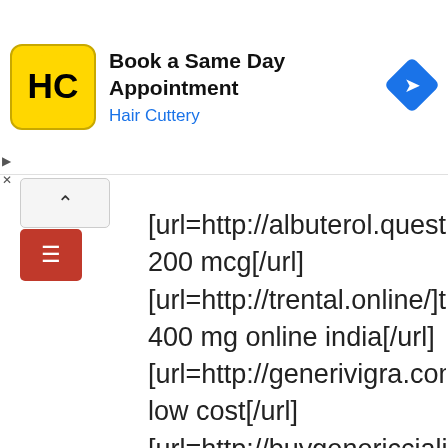[Figure (screenshot): Advertisement banner for Hair Cuttery: 'Book a Same Day Appointment' with HC logo and navigation icon]
[url=http://albuterol.quest/]albuterol 200 mcg[/url] [url=http://trental.online/]trental 400 mg online india[/url] [url=http://generivigra.com/]viagra low cost[/url] [url=http://buygenericcialis.quest/]cialis online canadian pharmacy[/url] [url=http://buyiveromectin.online/]ivermectin oral solution[/url] [url=http://brandnewviagra.com/]buying